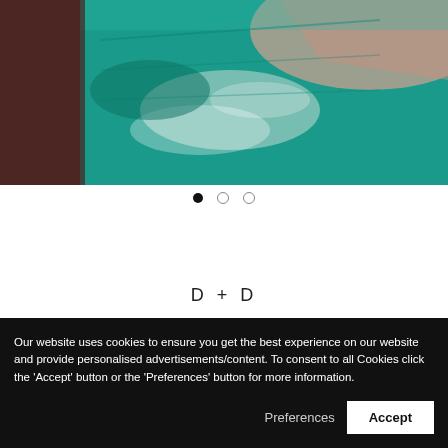[Figure (photo): Aerial or close-up view of a swimming pool with teal/turquoise water, white foam/splash, and surrounding pool deck areas in pinkish tones]
[Figure (infographic): Carousel pagination dots: one filled black dot followed by two empty circle dots]
D + D
[Figure (infographic): Three social media icons: Facebook (f), Instagram (circle with square), TikTok (musical note)]
Our website uses cookies to ensure you get the best experience on our website and provide personalised advertisements/content. To consent to all Cookies click the 'Accept' button or the 'Preferences' button for more information.
Preferences   Accept